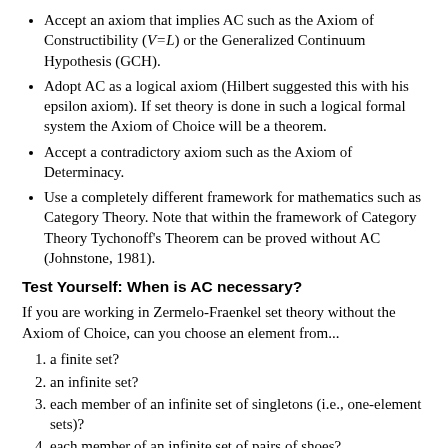Accept an axiom that implies AC such as the Axiom of Constructibility (V=L) or the Generalized Continuum Hypothesis (GCH).
Adopt AC as a logical axiom (Hilbert suggested this with his epsilon axiom). If set theory is done in such a logical formal system the Axiom of Choice will be a theorem.
Accept a contradictory axiom such as the Axiom of Determinacy.
Use a completely different framework for mathematics such as Category Theory. Note that within the framework of Category Theory Tychonoff's Theorem can be proved without AC (Johnstone, 1981).
Test Yourself: When is AC necessary?
If you are working in Zermelo-Fraenkel set theory without the Axiom of Choice, can you choose an element from...
a finite set?
an infinite set?
each member of an infinite set of singletons (i.e., one-element sets)?
each member of an infinite set of pairs of shoes?
each member of inifinite set of pairs of socks?
each member of a finite set of sets if each of the members is infinite?